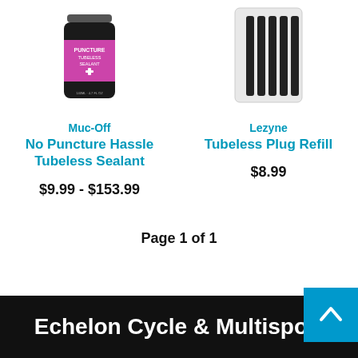[Figure (photo): Muc-Off No Puncture Hassle Tubeless Sealant product bottle with pink/black label]
[Figure (photo): Lezyne Tubeless Plug Refill strips in clear packaging]
Muc-Off
No Puncture Hassle Tubeless Sealant
$9.99 - $153.99
Lezyne
Tubeless Plug Refill
$8.99
Page 1 of 1
Echelon Cycle & Multisport